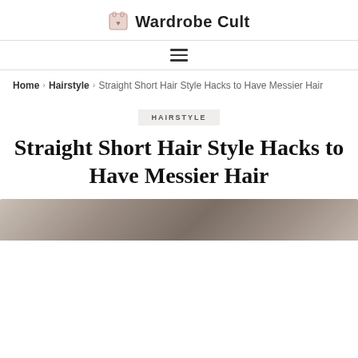Wardrobe Cult
≡
Home › Hairstyle › Straight Short Hair Style Hacks to Have Messier Hair
HAIRSTYLE
Straight Short Hair Style Hacks to Have Messier Hair
[Figure (photo): Photo of a hairstyle — partial view of hair at the bottom of the page]